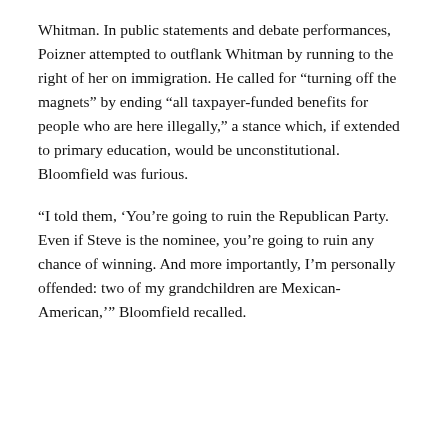Whitman. In public statements and debate performances, Poizner attempted to outflank Whitman by running to the right of her on immigration. He called for “turning off the magnets” by ending “all taxpayer-funded benefits for people who are here illegally,” a stance which, if extended to primary education, would be unconstitutional. Bloomfield was furious.
“I told them, ‘You’re going to ruin the Republican Party. Even if Steve is the nominee, you’re going to ruin any chance of winning. And more importantly, I’m personally offended: two of my grandchildren are Mexican-American,’” Bloomfield recalled.